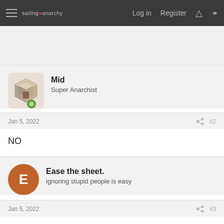sailing anarchy — Log in  Register
Mid
Super Anarchist
Jan 5, 2022  #2
NO
Ease the sheet.
ignoring stupid people is easy
Jan 5, 2022  #3